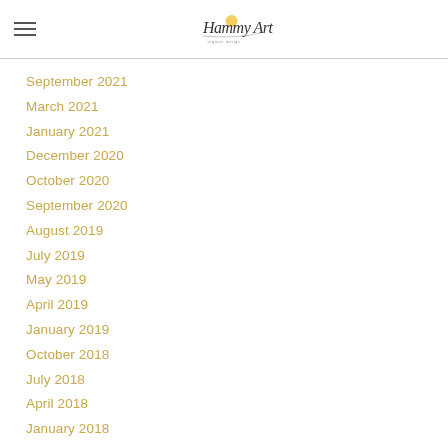Hammy Art organic design logo with hamburger menu
September 2021
March 2021
January 2021
December 2020
October 2020
September 2020
August 2019
July 2019
May 2019
April 2019
January 2019
October 2018
July 2018
April 2018
January 2018
May 2017
March 2017